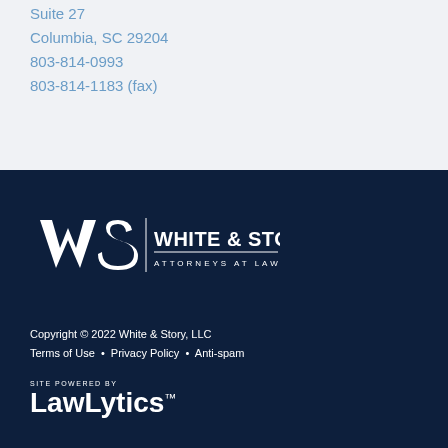Suite 27
Columbia, SC 29204
803-814-0993
803-814-1183 (fax)
[Figure (logo): White & Story LLC Attorneys at Law logo — white W&S monogram with firm name in white text on dark navy background]
Copyright © 2022 White & Story, LLC
Terms of Use  •  Privacy Policy  •  Anti-spam
[Figure (logo): LawLytics site powered by logo in white on dark navy background]